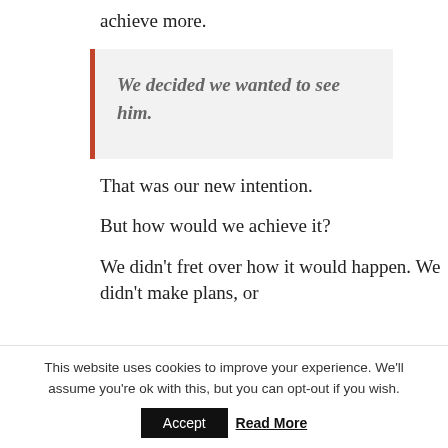achieve more.
We decided we wanted to see him.
That was our new intention.
But how would we achieve it?
We didn't fret over how it would happen. We didn't make plans, or
This website uses cookies to improve your experience. We'll assume you're ok with this, but you can opt-out if you wish.
Accept   Read More